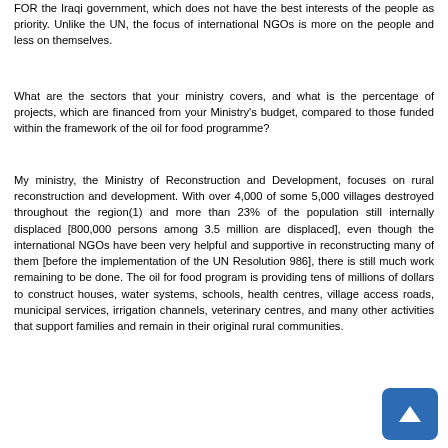FOR the Iraqi government, which does not have the best interests of the people as priority. Unlike the UN, the focus of international NGOs is more on the people and less on themselves.
What are the sectors that your ministry covers, and what is the percentage of projects, which are financed from your Ministry's budget, compared to those funded within the framework of the oil for food programme?
My ministry, the Ministry of Reconstruction and Development, focuses on rural reconstruction and development. With over 4,000 of some 5,000 villages destroyed throughout the region(1) and more than 23% of the population still internally displaced [800,000 persons among 3.5 million are displaced], even though the international NGOs have been very helpful and supportive in reconstructing many of them [before the implementation of the UN Resolution 986], there is still much work remaining to be done. The oil for food program is providing tens of millions of dollars to construct houses, water systems, schools, health centres, village access roads, municipal services, irrigation channels, veterinary centres, and many other activities that support families and remain in their original rural communities.